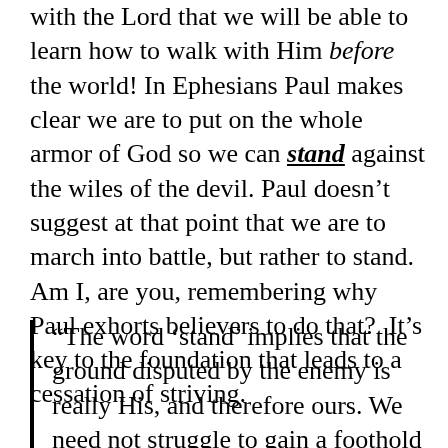with the Lord that we will be able to learn how to walk with Him before the world! In Ephesians Paul makes clear we are to put on the whole armor of God so we can stand against the wiles of the devil. Paul doesn't suggest at that point that we are to march into battle, but rather to stand. Am I, are you, remembering why Paul exhorts believers to do that?  It's key to the foundation that leads to a cessation of striving.
“The word ‘stand’ implies that the ground disputed by the enemy is really His, and therefore ours. We need not struggle to gain a foothold on it.”